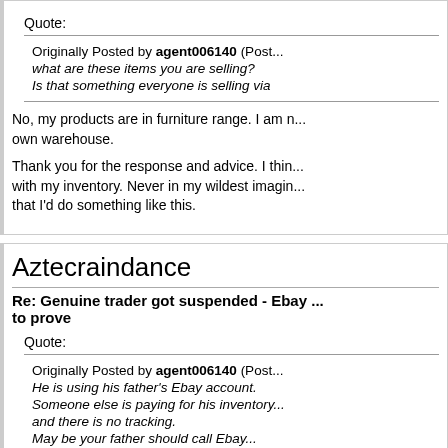Quote:
Originally Posted by agent006140 (Post... what are these items you are selling? Is that something everyone is selling via
No, my products are in furniture range. I am n... own warehouse.
Thank you for the response and advice. I thin... with my inventory. Never in my wildest imagin... that I'd do something like this.
Aztecraindance
Re: Genuine trader got suspended - Ebay ... to prove
Quote:
Originally Posted by agent006140 (Post... He is using his father's Ebay account. Someone else is paying for his inventory... and there is no tracking. May be your father should call Ebay...